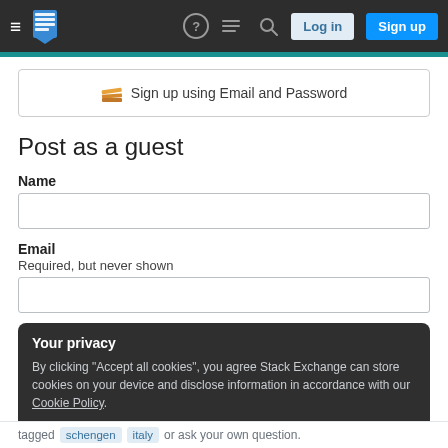Stack Exchange navigation bar with Log in and Sign up buttons
Sign up using Email and Password
Post as a guest
Name
Email
Required, but never shown
Your privacy
By clicking "Accept all cookies", you agree Stack Exchange can store cookies on your device and disclose information in accordance with our Cookie Policy.
Accept all cookies
Customize settings
tagged schengen italy or ask your own question.